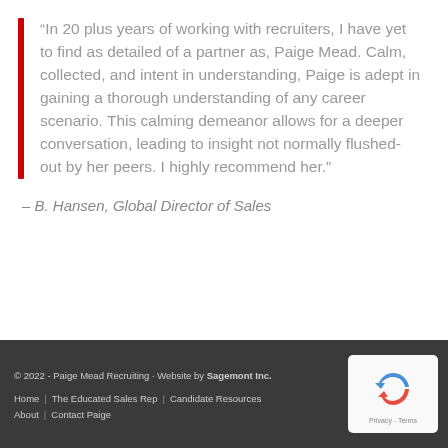“In 20 plus years of working with recruiters, I have yet to find as detailed of a partner as, Paige Mead. Calm, collected, and intent in understanding, Paige is adept in gaining a thorough understanding of any career scenario. This calming demeanor allows for a deeper conversation, leading to insight not normally flushed-out by her peers. I highly recommend her.”
– B. Hansen, Global Director of Sales
© 2022 - Paige Mead Recruiting · Website by Sagemont Inc. | Home | The Educated Sales Rep | Candidate Resources | About | Contact Paige